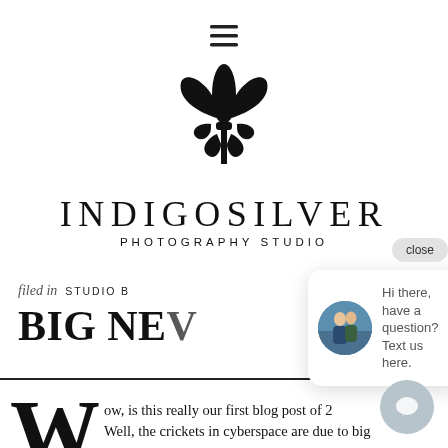[Figure (logo): Hamburger menu icon (three horizontal lines)]
[Figure (logo): Indigo Silver Photography Studio logo with fleur-de-lis symbol above the text INDIGOSILVER PHOTOGRAPHY STUDIO]
filed in  STUDIO B
BIG NE…
ow, is this really our first blog post of 2… Well, the crickets in cyberspace are due to big
[Figure (screenshot): Chat popup overlay with close button, avatar photo of couple embracing, and message: Hi there, have a question? Text us here.]